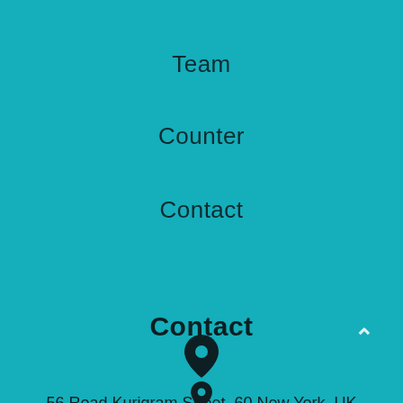Team
Counter
Contact
Contact
[Figure (illustration): Map pin / location marker icon in dark color]
56 Road Kurigram Street, 60 New York, UK
[Figure (illustration): Partial map pin / location marker icon at bottom edge]